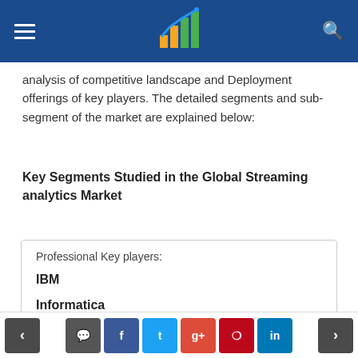Navigation bar with logo
analysis of competitive landscape and Deployment offerings of key players. The detailed segments and sub-segment of the market are explained below:
Key Segments Studied in the Global Streaming analytics Market
Professional Key players: IBM Informatica Microsoft
Navigation buttons: prev, comment, facebook, twitter, google+, pinterest, linkedin, next